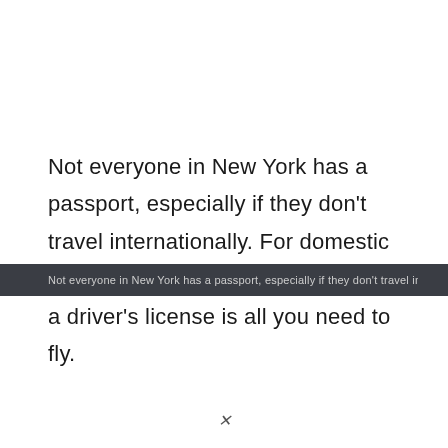Not everyone in New York has a passport, especially if they don't travel internationally. For domestic flights, a state-issued document like a driver's license is all you need to fly.
✕